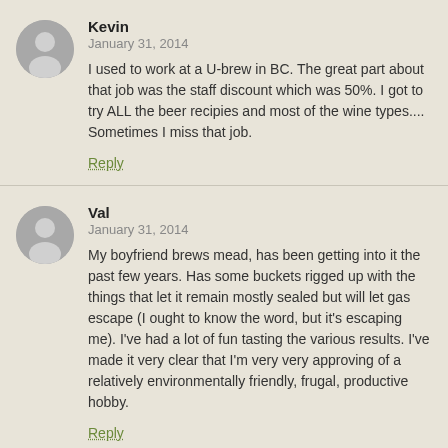Kevin
January 31, 2014
I used to work at a U-brew in BC. The great part about that job was the staff discount which was 50%. I got to try ALL the beer recipies and most of the wine types.... Sometimes I miss that job.
Reply
Val
January 31, 2014
My boyfriend brews mead, has been getting into it the past few years. Has some buckets rigged up with the things that let it remain mostly sealed but will let gas escape (I ought to know the word, but it's escaping me). I've had a lot of fun tasting the various results. I've made it very clear that I'm very very approving of a relatively environmentally friendly, frugal, productive hobby.
Reply
Elyse
January 31, 2014